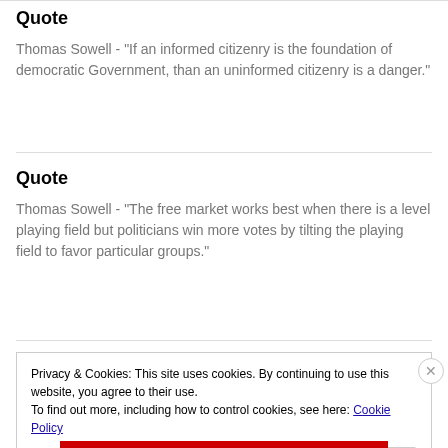Quote
Thomas Sowell - "If an informed citizenry is the foundation of democratic Government, than an uninformed citizenry is a danger."
Quote
Thomas Sowell - "The free market works best when there is a level playing field but politicians win more votes by tilting the playing field to favor particular groups."
Privacy & Cookies: This site uses cookies. By continuing to use this website, you agree to their use.
To find out more, including how to control cookies, see here: Cookie Policy